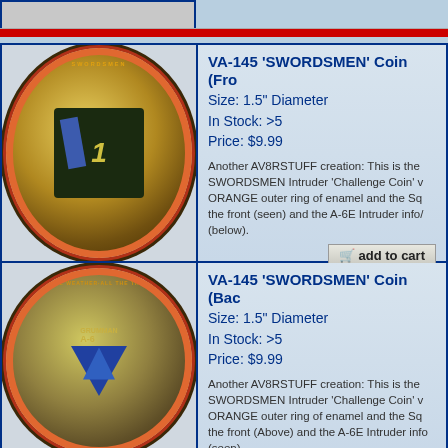[Figure (photo): Top partial row showing coin image (cropped) on left, partial product listing on right]
[Figure (photo): VA-145 SWORDSMEN Challenge Coin front view - circular coin with orange enamel outer ring, gold center with sword, lightning bolts, and lion emblem]
VA-145 'SWORDSMEN' Coin (Fro
Size: 1.5" Diameter
In Stock: >5
Price: $9.99

Another AV8RSTUFF creation: This is the SWORDSMEN Intruder 'Challenge Coin' w ORANGE outer ring of enamel and the Sq the front (seen) and the A-6E Intruder info/ (below).
[Figure (photo): VA-145 SWORDSMEN Challenge Coin back view - circular coin with orange enamel outer ring, Grumman A-6 Intruder aircraft emblem on dark background]
VA-145 'SWORDSMEN' Coin (Bac
Size: 1.5" Diameter
In Stock: >5
Price: $9.99

Another AV8RSTUFF creation: This is the SWORDSMEN Intruder 'Challenge Coin' w ORANGE outer ring of enamel and the Sq the front (Above) and the A-6E Intruder info (seen).